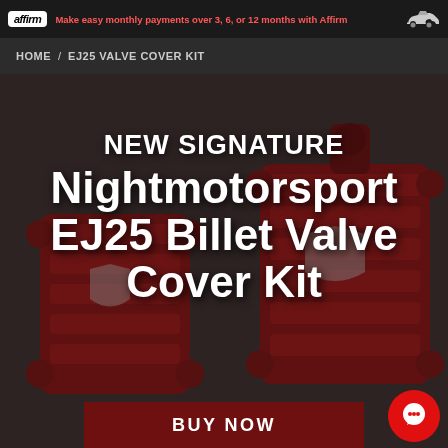affirm — Make easy monthly payments over 3, 6, or 12 months with Affirm
HOME / EJ25 VALVE COVER KIT
[Figure (photo): Red Nightmotorsport EJ25 Billet Valve Covers on dark background]
NEW SIGNATURE Nightmotorsport EJ25 Billet Valve Cover Kit
BUY NOW